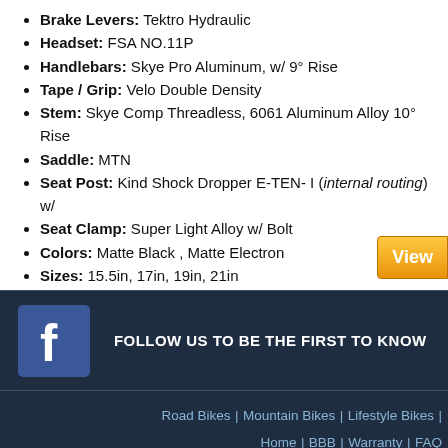Brake Levers: Tektro Hydraulic
Headset: FSA NO.11P
Handlebars: Skye Pro Aluminum, w/ 9° Rise
Tape / Grip: Velo Double Density
Stem: Skye Comp Threadless, 6061 Aluminum Alloy 10° Rise
Saddle: MTN
Seat Post: Kind Shock Dropper E-TEN- I (internal routing) w/
Seat Clamp: Super Light Alloy w/ Bolt
Colors: Matte Black , Matte Electron
Sizes: 15.5in, 17in, 19in, 21in
[Figure (other): View button (orange/yellow gradient button partially visible at right edge)]
[Figure (logo): Facebook logo icon (blue square with white 'f')]
FOLLOW US TO BE THE FIRST TO KNOW
Road Bikes | Mountain Bikes | Lifestyle Bikes | Home | BBB | Warranty | FAQ
Copyright © 2011-2022 - Bike Website designed b